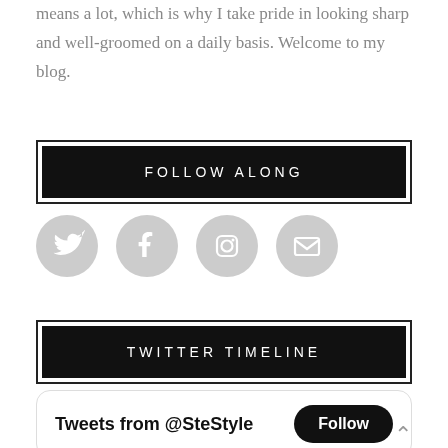means a lot, which is why I take pride in looking sharp and well-groomed on a daily basis. Welcome to my blog.
FOLLOW ALONG
[Figure (infographic): Four social media icon circles in gray: Twitter bird, Facebook f, Instagram camera, email envelope]
TWITTER TIMELINE
[Figure (screenshot): Twitter widget showing 'Tweets from @SteStyle' with a Follow button]